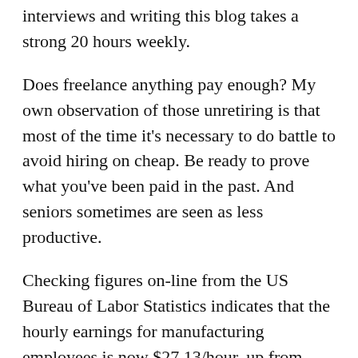interviews and writing this blog takes a strong 20 hours weekly.
Does freelance anything pay enough? My own observation of those unretiring is that most of the time it's necessary to do battle to avoid hiring on cheap. Be ready to prove what you've been paid in the past. And seniors sometimes are seen as less productive.
Checking figures on-line from the US Bureau of Labor Statistics indicates that the hourly earnings for manufacturing employees is now $27.13/hour, up from $22.37/hour in 2010.
How many seniors are now at work in the USA? Aged 65 and older, there are 10,627,000 full-timers. Raise the age 10 years to 75 and greater and the number of full-time workers is 2,067,000.
The the d...